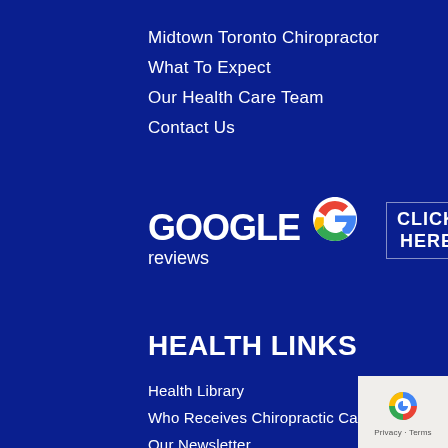Midtown Toronto Chiropractor
What To Expect
Our Health Care Team
Contact Us
[Figure (logo): Google Reviews logo with multicolor G icon and CLICK HERE text]
HEALTH LINKS
Health Library
Who Receives Chiropractic Care
Our Newsletter
[Figure (logo): reCAPTCHA Privacy - Terms badge]